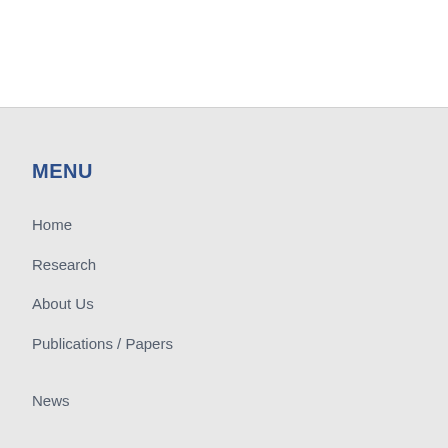MENU
Home
Research
About Us
Publications / Papers
News